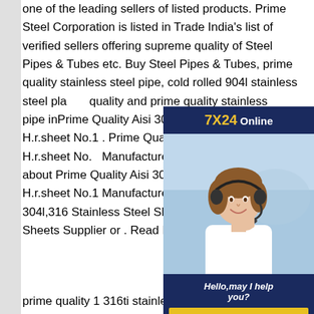one of the leading sellers of listed products. Prime Steel Corporation is listed in Trade India's list of verified sellers offering supreme quality of Steel Pipes & Tubes etc. Buy Steel Pipes & Tubes, prime quality stainless steel pipe, cold rolled 904l stainless steel plates, quality and prime quality stainless pipe inPrime Quality Aisi 304 Stainless Steel H.r.sheet No.1 . Prime Quality 304 Stainless Steel H.r.sheet No.1 Manufacturer , Find Complete Details about Prime Quality Aisi 304 Stainless Steel H.r.sheet No.1 Manufacturer,Stainless Steel Aisi 304l,316 Stainless Steel Sheet,Steel Foil from Steel Sheets Supplier or . Read More
[Figure (other): Online chat advertisement banner showing '7X24 Online' header in dark blue/gold, a photo of a smiling female customer service representative with a headset, 'Hello, may I help you?' text, and a yellow 'Get Latest Price' button.]
prime quality 1 316ti stainless steel pipe